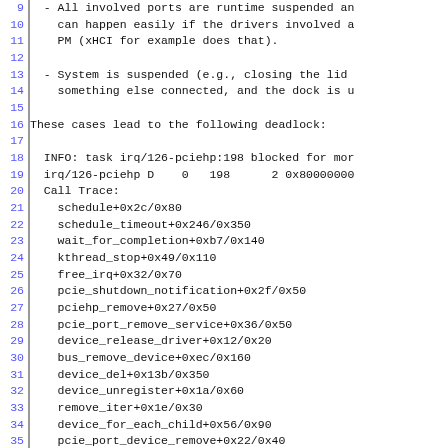Lines 9-38 of a code/log block showing runtime suspend deadlock call trace in Linux kernel
9: - All involved ports are runtime suspended an
10:   can happen easily if the drivers involved a
11:   PM (xHCI for example does that).
16: These cases lead to the following deadlock:
18: INFO: task irq/126-pciehp:198 blocked for mor
19: irq/126-pciehp D    0   198      2 0x80000000
20: Call Trace:
21:   schedule+0x2c/0x80
22:   schedule_timeout+0x246/0x350
23:   wait_for_completion+0xb7/0x140
24:   kthread_stop+0x49/0x110
25:   free_irq+0x32/0x70
26:   pcie_shutdown_notification+0x2f/0x50
27:   pciehp_remove+0x27/0x50
28:   pcie_port_remove_service+0x36/0x50
29:   device_release_driver+0x12/0x20
30:   bus_remove_device+0xec/0x160
31:   device_del+0x13b/0x350
32:   device_unregister+0x1a/0x60
33:   remove_iter+0x1e/0x30
34:   device_for_each_child+0x56/0x90
35:   pcie_port_device_remove+0x22/0x40
36:   pcie_portdrv_remove+0x20/0x60
37:   pci_device_remove+0x3e/0xc0
38:   device_release_driver_internal+0x18c/0x250